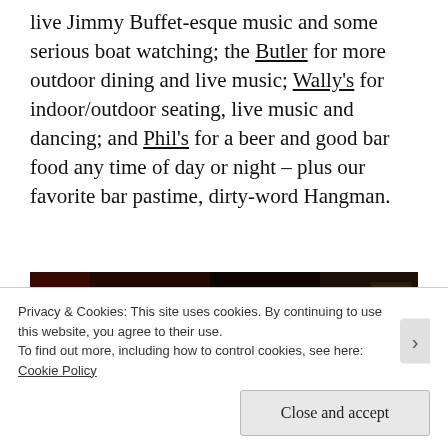live Jimmy Buffet-esque music and some serious boat watching; the Butler for more outdoor dining and live music; Wally's for indoor/outdoor seating, live music and dancing; and Phil's for a beer and good bar food any time of day or night – plus our favorite bar pastime, dirty-word Hangman.
[Figure (photo): Dimly lit bar interior photo showing a person's head from behind, chandelier lights, and dark bar atmosphere with reddish hues]
Privacy & Cookies: This site uses cookies. By continuing to use this website, you agree to their use.
To find out more, including how to control cookies, see here: Cookie Policy